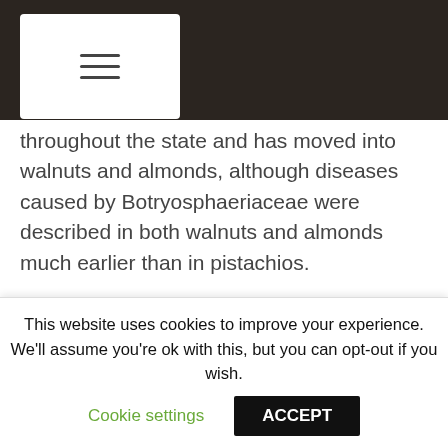≡
throughout the state and has moved into walnuts and almonds, although diseases caused by Botryosphaeriaceae were described in both walnuts and almonds much earlier than in pistachios.
Themis Michailides, a UC Davis professor of Plant Pathology based at the Kearney Agricultural Center near Parlier, has spent much of his career studying the plant pathogens responsible for the disease. During research funded by the Walnut Board from 2014 to 2017, he found 10 fungal pathogens from the family of Botryosphaeriaceae and two Phomopsis species
This website uses cookies to improve your experience. We'll assume you're ok with this, but you can opt-out if you wish.
Cookie settings
ACCEPT